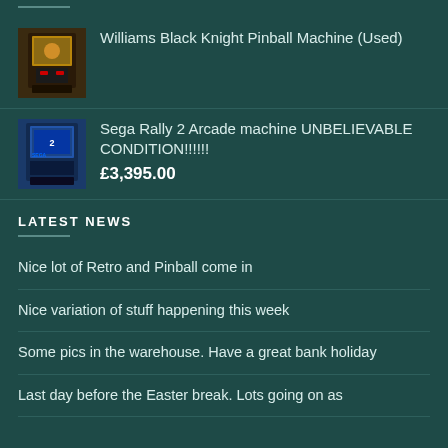Williams Black Knight Pinball Machine (Used)
Sega Rally 2 Arcade machine UNBELIEVABLE CONDITION!!!!!! £3,395.00
LATEST NEWS
Nice lot of Retro and Pinball come in
Nice variation of stuff happening this week
Some pics in the warehouse. Have a great bank holiday
Last day before the Easter break. Lots going on as